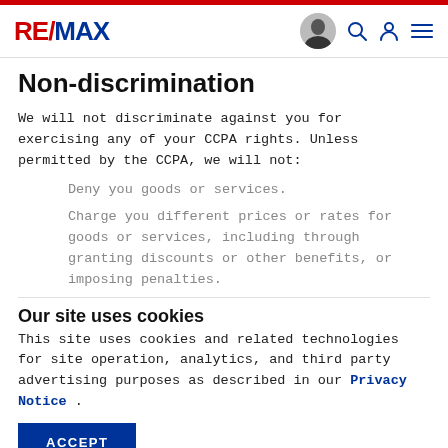RE/MAX
Non-discrimination
We will not discriminate against you for exercising any of your CCPA rights. Unless permitted by the CCPA, we will not:
Deny you goods or services.
Charge you different prices or rates for goods or services, including through granting discounts or other benefits, or imposing penalties.
Our site uses cookies
This site uses cookies and related technologies for site operation, analytics, and third party advertising purposes as described in our Privacy Notice .
ACCEPT